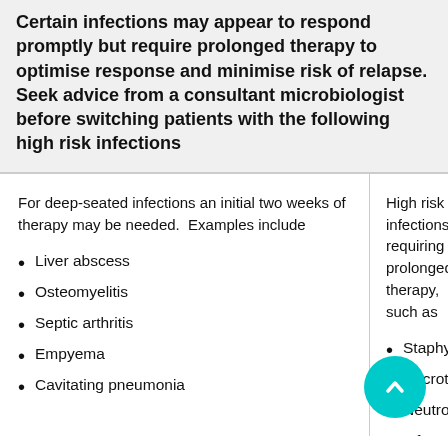Certain infections may appear to respond promptly but require prolonged therapy to optimise response and minimise risk of relapse. Seek advice from a consultant microbiologist before switching patients with the following high risk infections
For deep-seated infections an initial two weeks of therapy may be needed.  Examples include
Liver abscess
Osteomyelitis
Septic arthritis
Empyema
Cavitating pneumonia
High risk infections requiring prolonged therapy, such as
Staphylococcus aureus bacteraemia
Necrotising fasciitis
Neutropenic sepsis
Infected implants / prosthetics
Meningitis
Intracranial abscess
Mediastinitis
Endocarditis
Exacerbations of bronchiectasis
Intrapleural infection / empyema